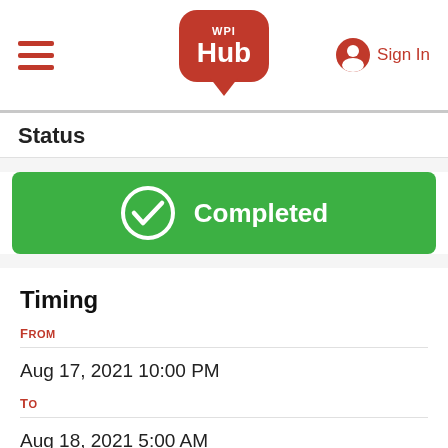WPI Hub — Sign In
Status
[Figure (infographic): Green rounded rectangle with a white circle checkmark icon and the text 'Completed' in white bold text, indicating a completed status.]
Timing
FROM
Aug 17, 2021 10:00 PM
To
Aug 18, 2021 5:00 AM
POSTED